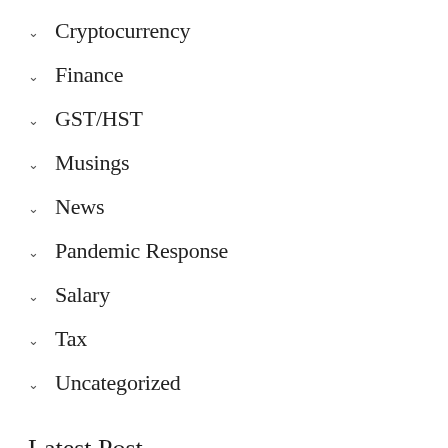Cryptocurrency
Finance
GST/HST
Musings
News
Pandemic Response
Salary
Tax
Uncategorized
Latest Post